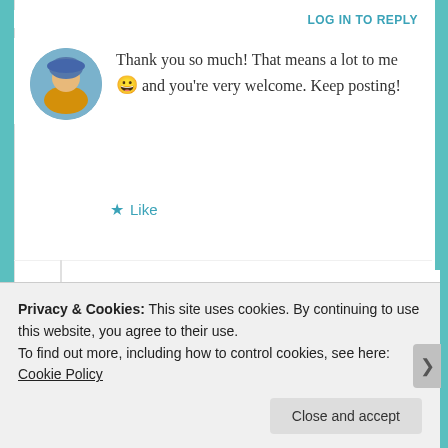LOG IN TO REPLY
Thank you so much! That means a lot to me 😀 and you're very welcome. Keep posting!
★ Like
A MUSING TEEN   March 8, 2016 at 10:03 am
[Figure (photo): Avatar of user A Musing Teen — a yellow duck emoji/figure]
Yup 🙂
★ Liked by 1 person
Privacy & Cookies: This site uses cookies. By continuing to use this website, you agree to their use.
To find out more, including how to control cookies, see here: Cookie Policy
Close and accept